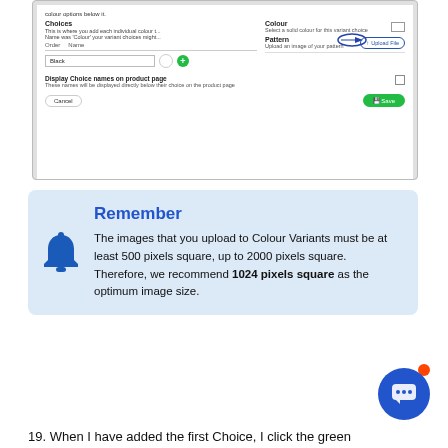[Figure (screenshot): Screenshot of a product variant configuration UI showing Colour selector, Pattern upload button with an arrow pointing to Upload File button, Choices section with 'Black' entry, Display Choice names on product page checkbox, and Cancel/Save buttons.]
Remember
The images that you upload to Colour Variants must be at least 500 pixels square, up to 2000 pixels square. Therefore, we recommend 1024 pixels square as the optimum image size.
19. When I have added the first Choice, I click the green